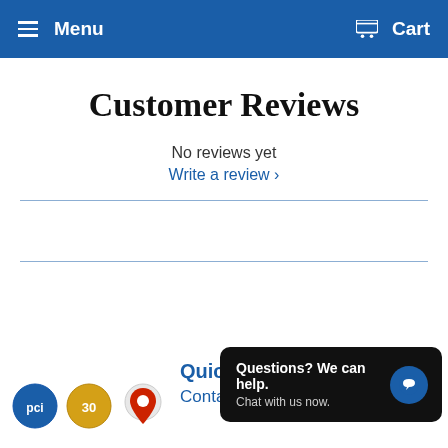Menu   Cart
Customer Reviews
No reviews yet
Write a review ›
Quick links
Contact Info
Questions? We can help. Chat with us now.